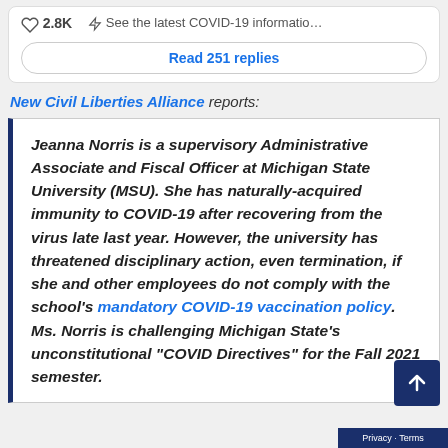2.8K  See the latest COVID-19 informatio...
Read 251 replies
New Civil Liberties Alliance reports:
Jeanna Norris is a supervisory Administrative Associate and Fiscal Officer at Michigan State University (MSU). She has naturally-acquired immunity to COVID-19 after recovering from the virus late last year. However, the university has threatened disciplinary action, even termination, if she and other employees do not comply with the school's mandatory COVID-19 vaccination policy. Ms. Norris is challenging Michigan State's unconstitutional “COVID Directives” for the Fall 2021 semester.
Privacy · Terms